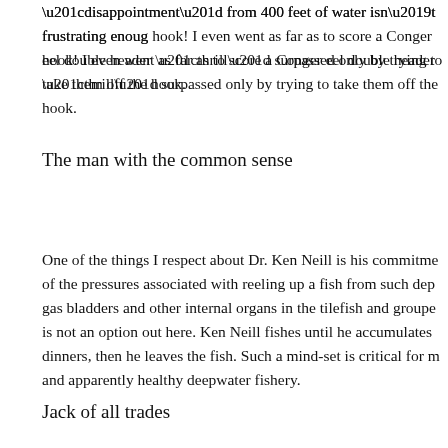“disappointment” from 400 feet of water isn’t frustrating enough to hook! I even went as far as to score a Conger eel double header — a “thrill” surpassed only by trying to take them off the hook.
The man with the common sense
One of the things I respect about Dr. Ken Neill is his commitment of the pressures associated with reeling up a fish from such depths gas bladders and other internal organs in the tilefish and grouper is not an option out here. Ken Neill fishes until he accumulates dinners, then he leaves the fish. Such a mind-set is critical for maintaining and apparently healthy deepwater fishery.
Jack of all trades